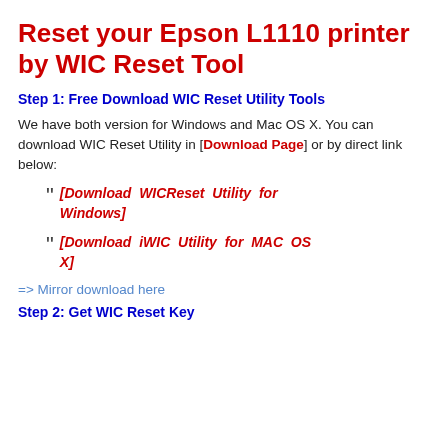Reset your Epson L1110 printer by WIC Reset Tool
Step 1: Free Download WIC Reset Utility Tools
We have both version for Windows and Mac OS X. You can download WIC Reset Utility in [Download Page] or by direct link below:
[Download WICReset Utility for Windows]
[Download iWIC Utility for MAC OS X]
=> Mirror download here
Step 2: Get WIC Reset Key